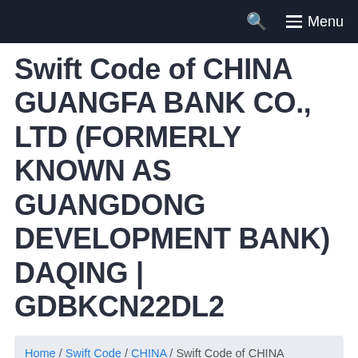☰ Menu
Swift Code of CHINA GUANGFA BANK CO., LTD (FORMERLY KNOWN AS GUANGDONG DEVELOPMENT BANK) DAQING | GDBKCN22DL2
Home / Swift Code / CHINA / Swift Code of CHINA GUANGFA BANK CO., LTD (FORMERLY KNOWN AS GUANGDONG DEVELOPMENT BANK) DAQING | GDBKCN22DL2
Page Contents: [show]